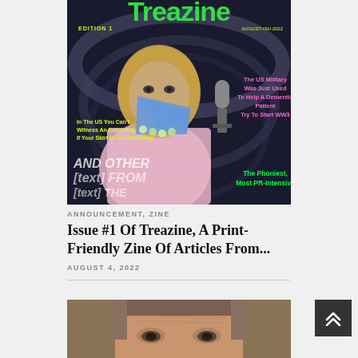[Figure (illustration): Magazine cover of 'Treazine' Edition 1, August-ish 2022. Features an illustrated caricature of a woman with blonde hair wearing a pink blazer and pearl necklace, with a blue triangular mask over her face and a microphone. Text overlays include: 'EDITION 1', 'AUGUST-ISH 2022', 'The US Military Was Just Used To Help A Dementia Patient Try To Start WW3', 'In The US You Can’t Witness An Execution If Your Skirt Is Too Revealing', 'AND OTHER [text cut off] FROM [text cut off] THE', 'The Phoniest, Most PR-Intensive'. Dark background with green and pink color scheme.]
ANNOUNCEMENT, ZINE
Issue #1 Of Treazine, A Print-Friendly Zine Of Articles From...
AUGUST 4, 2022
[Figure (photo): Close-up photo of a man's face with graying hair, visible from forehead to chin, looking slightly upward. The image is cropped at the bottom of the page.]